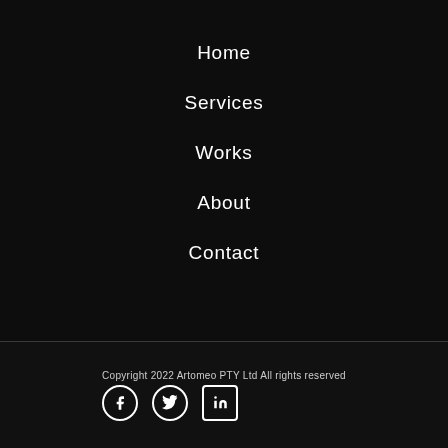Home
Services
Works
About
Contact
Copyright 2022 Artomeo PTY Ltd All rights reserved